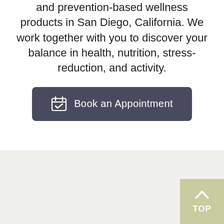and prevention-based wellness products in San Diego, California. We work together with you to discover your balance in health, nutrition, stress-reduction, and activity.
[Figure (other): Button with calendar icon and text 'Book an Appointment' on a dark slate-blue rounded rectangle background]
[Figure (other): Light gray-green footer section with a sage green 'TOP' back-to-top button with upward arrow chevron in the bottom right corner]